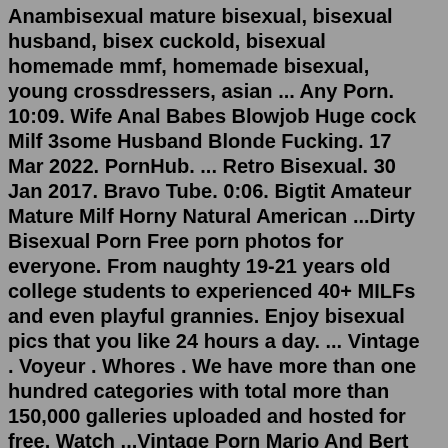Anambisexual mature bisexual, bisexual husband, bisex cuckold, bisexual homemade mmf, homemade bisexual, young crossdressers, asian ... Any Porn. 10:09. Wife Anal Babes Blowjob Huge cock Milf 3some Husband Blonde Fucking. 17 Mar 2022. PornHub. ... Retro Bisexual. 30 Jan 2017. Bravo Tube. 0:06. Bigtit Amateur Mature Milf Horny Natural American ...Dirty Bisexual Porn Free porn photos for everyone. From naughty 19-21 years old college students to experienced 40+ MILFs and even playful grannies. Enjoy bisexual pics that you like 24 hours a day. ... Vintage . Voyeur . Whores . We have more than one hundred categories with total more than 150,000 galleries uploaded and hosted for free. Watch ...Vintage Porn Mario And Bert First Love Gay Sex. 2 hours ago. 26.3K views. 10:57. Vintage Footage In The Woods Maglover`s Gay Porn. 3 hours ago. 19.2K views. 01:13:00. Richey Full Twinks Film Boys Porn Classic. Vintage porn with sexy straight ebony boy fucking GAY VINTAGE PORN. 57:50. Guys who eat cum -DVD-Just Boys. 20:33. Cruisin' 57 part 1 Tribal